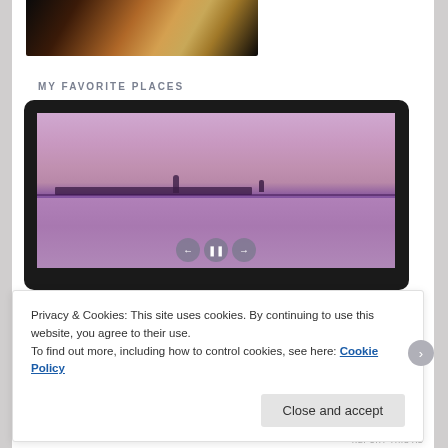[Figure (photo): Partial photo of a person with blonde hair against dark background, cropped at top of page]
MY FAVORITE PLACES
[Figure (screenshot): Slideshow widget showing a vintage purple-tinted photo of a waterway with a treeline, windmill structure, and boat silhouettes on the horizon. Navigation controls (back, pause, forward) visible at bottom.]
Privacy & Cookies: This site uses cookies. By continuing to use this website, you agree to their use.
To find out more, including how to control cookies, see here: Cookie Policy
Close and accept